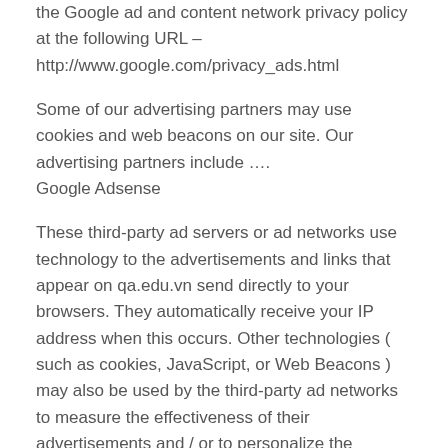the Google ad and content network privacy policy at the following URL – http://www.google.com/privacy_ads.html
Some of our advertising partners may use cookies and web beacons on our site. Our advertising partners include …. Google Adsense
These third-party ad servers or ad networks use technology to the advertisements and links that appear on qa.edu.vn send directly to your browsers. They automatically receive your IP address when this occurs. Other technologies ( such as cookies, JavaScript, or Web Beacons ) may also be used by the third-party ad networks to measure the effectiveness of their advertisements and / or to personalize the advertising content that you see.
qa.edu.vn has no access to or control over these cookies that are used by third-party advertisers.
You should consult the respective privacy policies of these third-party ad servers for more detailed information on their